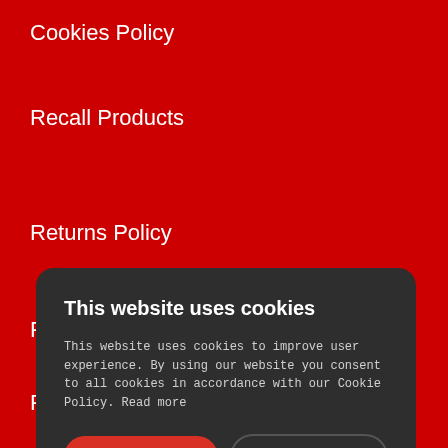Cookies Policy
Recall Products
Returns Policy
P...
P...
D...
[Figure (screenshot): Cookie consent dialog overlay on a red background website. Dialog contains title 'This website uses cookies', body text explaining cookie usage, an 'ACCEPT ALL' button in red, a 'DECLINE ALL' button with dark outline, and a 'SHOW DETAILS' link with gear icon.]